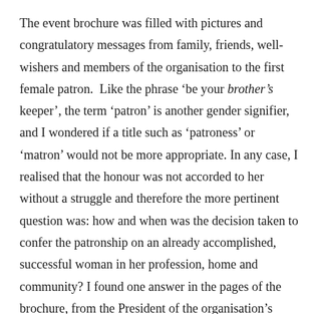The event brochure was filled with pictures and congratulatory messages from family, friends, well-wishers and members of the organisation to the first female patron.  Like the phrase ‘be your brother’s keeper’, the term ‘patron’ is another gender signifier, and I wondered if a title such as ‘patroness’ or ‘matron’ would not be more appropriate. In any case, I realised that the honour was not accorded to her without a struggle and therefore the more pertinent question was: how and when was the decision taken to confer the patronship on an already accomplished, successful woman in her profession, home and community? I found one answer in the pages of the brochure, from the President of the organisation’s branch in London –